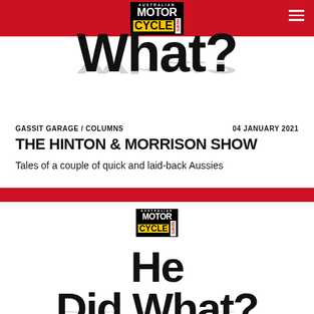AUSTRALIAN MOTOR CYCLE NEWS
What?
GASSIT GARAGE / COLUMNS   04 JANUARY 2021
THE HINTON & MORRISON SHOW
Tales of a couple of quick and laid-back Aussies
[Figure (logo): Australian Motor Cycle News logo with red bar and article thumbnail showing 'He Did What?' headline]